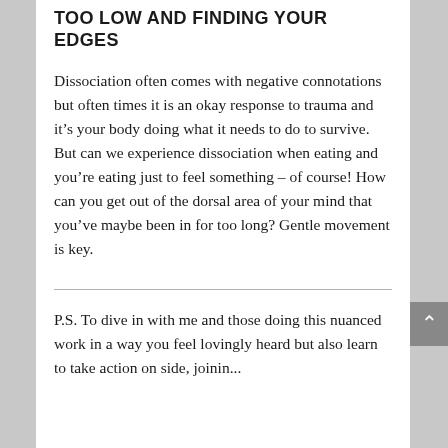TOO LOW AND FINDING YOUR EDGES
Dissociation often comes with negative connotations but often times it is an okay response to trauma and it’s your body doing what it needs to do to survive. But can we experience dissociation when eating and you’re eating just to feel something – of course! How can you get out of the dorsal area of your mind that you’ve maybe been in for too long? Gentle movement is key.
P.S. To dive in with me and those doing this nuanced work in a way you feel lovingly heard but also learn to take action on side, joining...